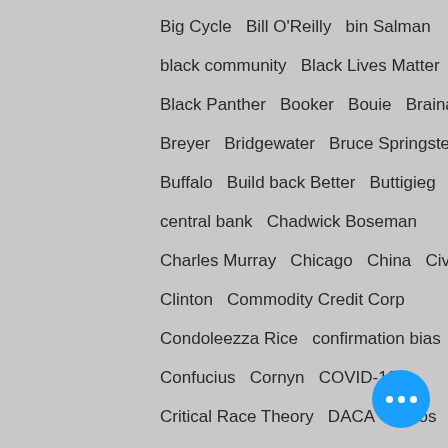Big Cycle   Bill O'Reilly   bin Salman
black community   Black Lives Matter
Black Panther   Booker   Bouie   Brainard
Breyer   Bridgewater   Bruce Springsteen
Buffalo   Build back Better   Buttigieg
central bank   Chadwick Boseman
Charles Murray   Chicago   China   Civil War
Clinton   Commodity Credit Corp
Condoleezza Rice   confirmation bias
Confucius   Cornyn   COVID-19
Critical Race Theory   DACA   Davos
De Blasio   Deadline: White House   DEI
Democratic Party
Democratic Socialists of America